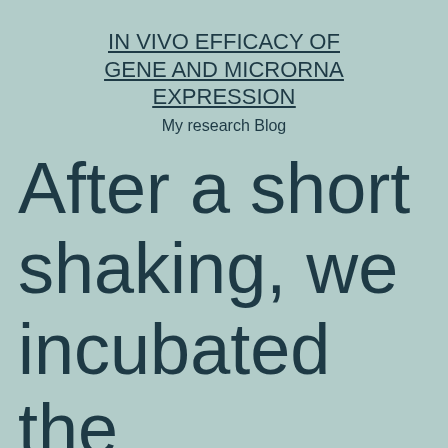IN VIVO EFFICACY OF GENE AND MICRORNA EXPRESSION
My research Blog
After a short shaking, we incubated the